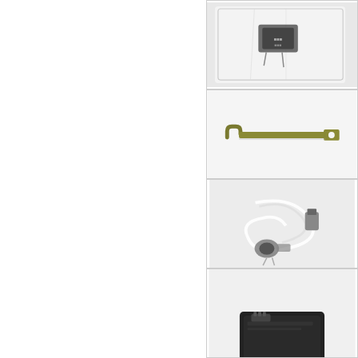[Figure (photo): Small electronic component or bracket in a clear plastic bag]
[Figure (photo): Olive/khaki colored flat metal bracket or strap with hook on one end and hole on the other]
[Figure (photo): White cable or wire with metallic connectors and small mechanical parts on a light background]
[Figure (photo): Black rectangular electronic component or module, partially visible at bottom of page]